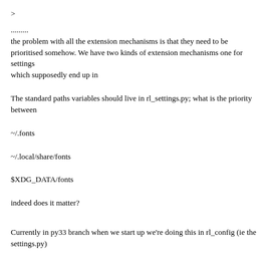>
.........
the problem with all the extension mechanisms is that they need to be
prioritised somehow. We have two kinds of extension mechanisms one for settings
which supposedly end up in
The standard paths variables should live in rl_settings.py; what is the priority
between
~/.fonts
~/.local/share/fonts
$XDG_DATA/fonts
indeed does it matter?
Currently in py33 branch when we start up we're doing this in rl_config (ie the
settings.py)